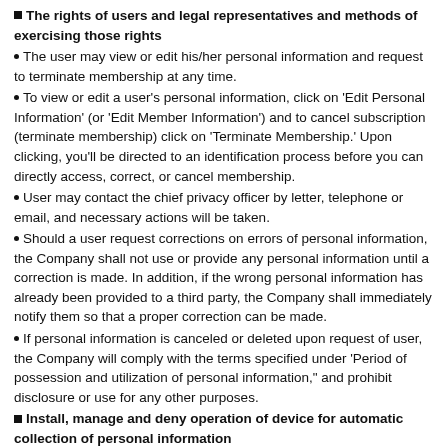The rights of users and legal representatives and methods of exercising those rights
The user may view or edit his/her personal information and request to terminate membership at any time.
To view or edit a user's personal information, click on 'Edit Personal Information' (or 'Edit Member Information') and to cancel subscription (terminate membership) click on 'Terminate Membership.' Upon clicking, you'll be directed to an identification process before you can directly access, correct, or cancel membership.
User may contact the chief privacy officer by letter, telephone or email, and necessary actions will be taken.
Should a user request corrections on errors of personal information, the Company shall not use or provide any personal information until a correction is made. In addition, if the wrong personal information has already been provided to a third party, the Company shall immediately notify them so that a proper correction can be made.
If personal information is canceled or deleted upon request of user, the Company will comply with the terms specified under 'Period of possession and utilization of personal information," and prohibit disclosure or use for any other purposes.
Install, manage and deny operation of device for automatic collection of personal information
The Company uses 'cookies' that frequently save and retrieve your information. A cookie is a very small text file that the server, used to operate the Company's website, sends to your browser. The file is saved in the hard disk of your computer. The Company uses cookies for the following purposes:
Use and purpose of cookies
To analyze the frequency of a member and non-member's visit, understand